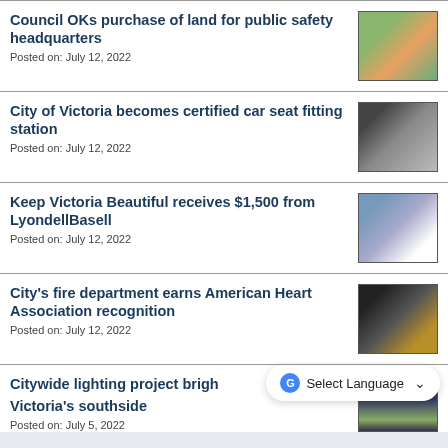Council OKs purchase of land for public safety headquarters
Posted on: July 12, 2022
City of Victoria becomes certified car seat fitting station
Posted on: July 12, 2022
Keep Victoria Beautiful receives $1,500 from LyondellBasell
Posted on: July 12, 2022
City's fire department earns American Heart Association recognition
Posted on: July 12, 2022
Citywide lighting project brigh... Victoria's southside
Posted on: July 5, 2022